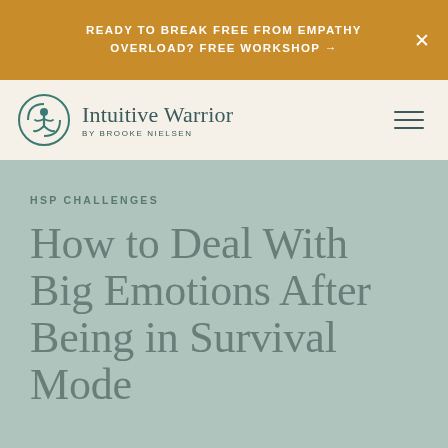READY TO BREAK FREE FROM EMPATHY OVERLOAD? FREE WORKSHOP →
[Figure (logo): Intuitive Warrior logo — circular emblem with stylized figure and leaf motifs, teal color]
Intuitive Warrior BY BROOKE NIELSEN
HSP CHALLENGES
How to Deal With Big Emotions After Being in Survival Mode